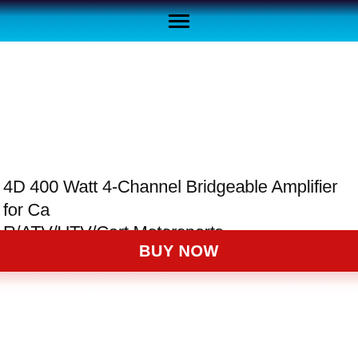☰
4D 400 Watt 4-Channel Bridgeable Amplifier for Car/ATV/UTV/Cart Motorsports
BUY NOW